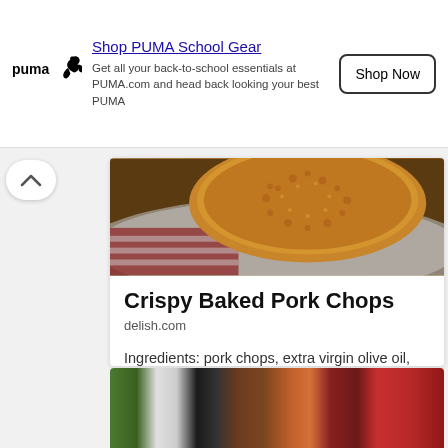[Figure (other): PUMA advertisement banner with logo, 'Shop PUMA School Gear' headline, body text, and 'Shop Now' button]
[Figure (photo): Close-up photo of a crispy breaded pork chop on a plate]
Crispy Baked Pork Chops
delish.com
Ingredients: pork chops, extra virgin olive oil, oregano, panko, garlic powder, smoked paprika, parsley, green beans, onion powder
[Figure (photo): Partial view of another recipe card showing colorful food ingredients]